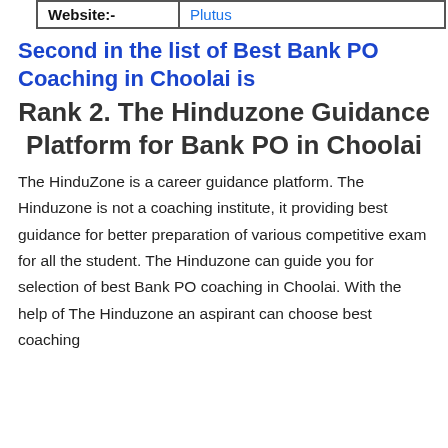| Website:- | Plutus |
Second in the list of Best Bank PO Coaching in Choolai is
Rank 2. The Hinduzone Guidance Platform for Bank PO in Choolai
The HinduZone is a career guidance platform. The Hinduzone is not a coaching institute, it providing best guidance for better preparation of various competitive exam for all the student. The Hinduzone can guide you for selection of best Bank PO coaching in Choolai. With the help of The Hinduzone an aspirant can choose best coaching